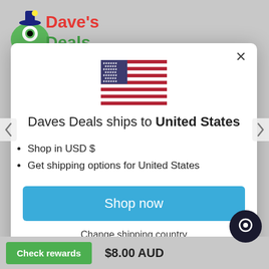[Figure (logo): Dave's Deals colorful logo with green monster character]
[Figure (screenshot): Modal dialog showing shipping country selector for United States with US flag]
Daves Deals ships to United States
Shop in USD $
Get shipping options for United States
Shop now
Change shipping country
Check rewards
$8.00 AUD